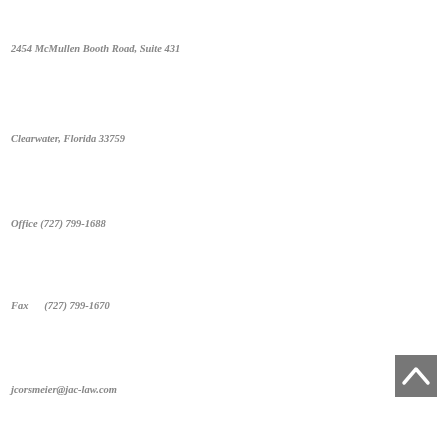2454 McMullen Booth Road, Suite 431
Clearwater, Florida 33759
Office (727) 799-1688
Fax      (727) 799-1670
[Figure (other): Back-to-top navigation button, dark gray square with white upward-pointing chevron/caret]
jcorsmeier@jac-law.com